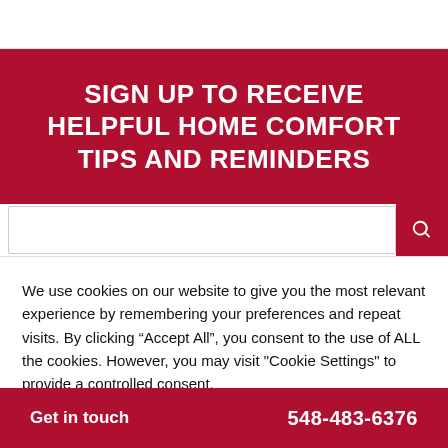SIGN UP TO RECEIVE HELPFUL HOME COMFORT TIPS AND REMINDERS
We use cookies on our website to give you the most relevant experience by remembering your preferences and repeat visits. By clicking “Accept All”, you consent to the use of ALL the cookies. However, you may visit "Cookie Settings" to provide a controlled consent.
Cookie Settings
Accept All
Get in touch   548-483-6376